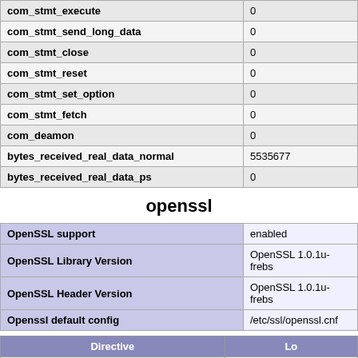|  |  |
| --- | --- |
| com_stmt_execute | 0 |
| com_stmt_send_long_data | 0 |
| com_stmt_close | 0 |
| com_stmt_reset | 0 |
| com_stmt_set_option | 0 |
| com_stmt_fetch | 0 |
| com_deamon | 0 |
| bytes_received_real_data_normal | 5535677 |
| bytes_received_real_data_ps | 0 |
openssl
|  |  |
| --- | --- |
| OpenSSL support | enabled |
| OpenSSL Library Version | OpenSSL 1.0.1u-frebs |
| OpenSSL Header Version | OpenSSL 1.0.1u-frebs |
| Openssl default config | /etc/ssl/openssl.cnf |
| Directive | Lo |
| --- | --- |
| openssl.cafile | no value |
| openssl.capath | no value |